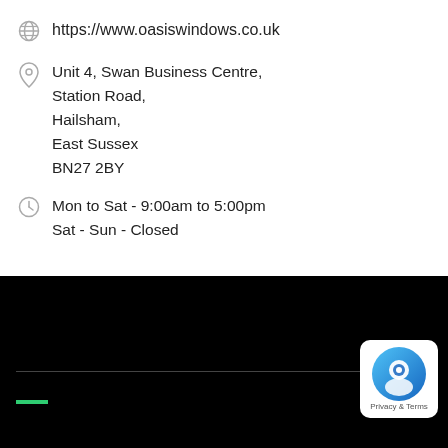https://www.oasiswindows.co.uk
Unit 4, Swan Business Centre,
Station Road,
Hailsham,
East Sussex
BN27 2BY
Mon to Sat - 9:00am to 5:00pm
Sat - Sun - Closed